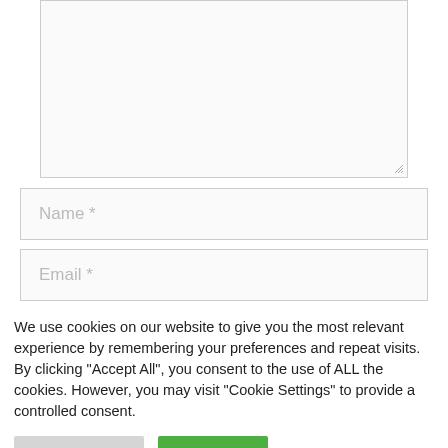[Figure (screenshot): Empty textarea form field with resize handle at bottom right corner]
Name *
Email *
We use cookies on our website to give you the most relevant experience by remembering your preferences and repeat visits. By clicking "Accept All", you consent to the use of ALL the cookies. However, you may visit "Cookie Settings" to provide a controlled consent.
Cookie Settings
Accept All